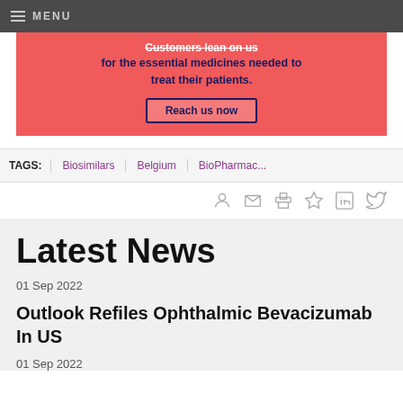MENU
[Figure (infographic): Red advertisement banner: 'Customers lean on us for the essential medicines needed to treat their patients.' with a 'Reach us now' button]
TAGS: Biosimilars | Belgium | BioPharmac...
[Figure (infographic): Row of social/action icons: user, email, print, bookmark, LinkedIn, Twitter]
Latest News
01 Sep 2022
Outlook Refiles Ophthalmic Bevacizumab In US
01 Sep 2022